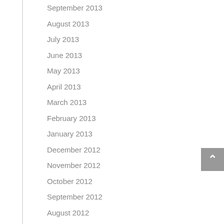September 2013
August 2013
July 2013
June 2013
May 2013
April 2013
March 2013
February 2013
January 2013
December 2012
November 2012
October 2012
September 2012
August 2012
July 2012